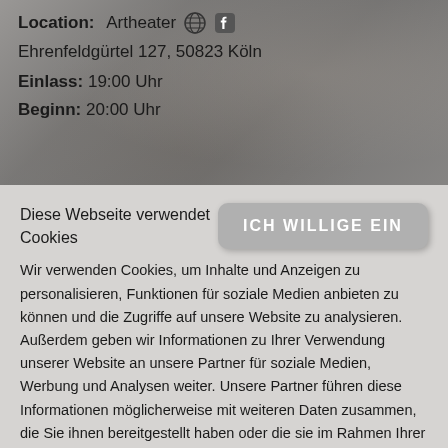Location: Artheater
Ehrenfeldgürtel 127, 50823 Köln
Einlass: 19:00 Uhr
Beginn: 20:00 Uhr
Diese Webseite verwendet Cookies
ICH WILLIGE EIN
Wir verwenden Cookies, um Inhalte und Anzeigen zu personalisieren, Funktionen für soziale Medien anbieten zu können und die Zugriffe auf unsere Website zu analysieren. Außerdem geben wir Informationen zu Ihrer Verwendung unserer Website an unsere Partner für soziale Medien, Werbung und Analysen weiter. Unsere Partner führen diese Informationen möglicherweise mit weiteren Daten zusammen, die Sie ihnen bereitgestellt haben oder die sie im Rahmen Ihrer Nutzung der Dienste gesammelt haben. Sie geben Einwilligung zu unseren Cookies um die Seite zu nutzen.
Mehr erfahren